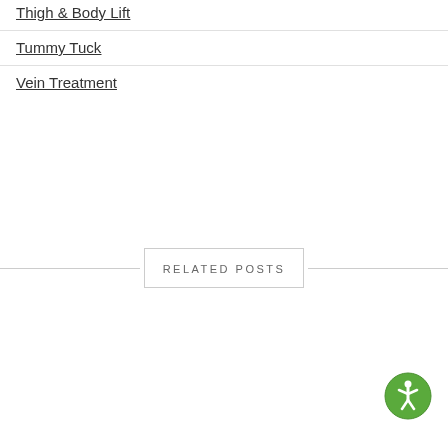Thigh & Body Lift
Tummy Tuck
Vein Treatment
RELATED POSTS
[Figure (illustration): Accessibility icon — circular green badge with a white human figure in motion]